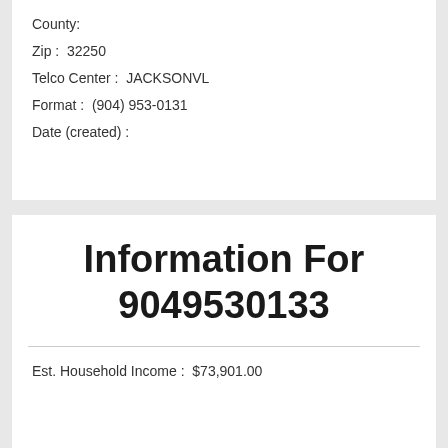County:
Zip:  32250
Telco Center:  JACKSONVL
Format:  (904) 953-0131
Date (created):
Information For 9049530133
Est. Household Income:  $73,901.00